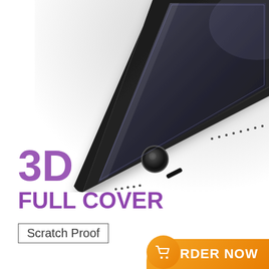[Figure (photo): Close-up photo of a black iPhone showing the bottom portion with home button, speaker grille dots, and Lightning port, with a glass screen protector being applied. The phone is shown from an angle against a white background.]
3D
FULL COVER
Scratch Proof
ORDER NOW